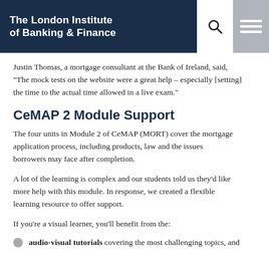The London Institute of Banking & Finance
Justin Thomas, a mortgage consultant at the Bank of Ireland, said, "The mock tests on the website were a great help – especially [setting] the time to the actual time allowed in a live exam."
CeMAP 2 Module Support
The four units in Module 2 of CeMAP (MORT) cover the mortgage application process, including products, law and the issues borrowers may face after completion.
A lot of the learning is complex and our students told us they'd like more help with this module. In response, we created a flexible learning resource to offer support.
If you're a visual learner, you'll benefit from the:
audio-visual tutorials covering the most challenging topics, and